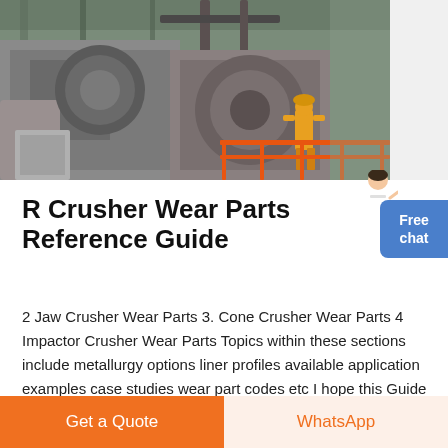[Figure (photo): Industrial crusher machinery in a large factory/plant setting. A worker in yellow hard hat and jumpsuit stands near heavy grey machinery with orange safety railings. Industrial ceiling and structural elements visible.]
R Crusher Wear Parts Reference Guide
2 Jaw Crusher Wear Parts 3. Cone Crusher Wear Parts 4 Impactor Crusher Wear Parts Topics within these sections include metallurgy options liner profiles available application examples case studies wear part codes etc I hope this Guide provides an invaluable source of information that will assist you in selling